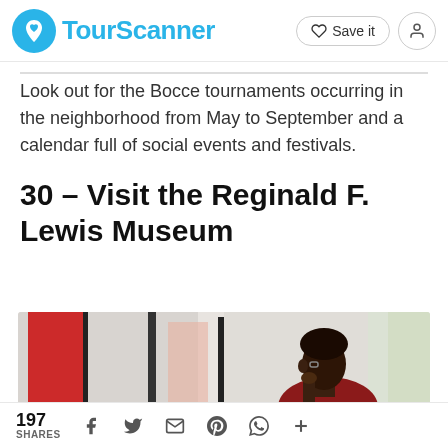TourScanner — Save it
Look out for the Bocce tournaments occurring in the neighborhood from May to September and a calendar full of social events and festivals.
30 – Visit the Reginald F. Lewis Museum
[Figure (photo): A person (a Black man in a red shirt) contemplating artwork in a museum gallery. Framed artworks hang on a white wall behind him.]
197 SHARES — social share icons: Facebook, Twitter, Email, Pinterest, WhatsApp, More